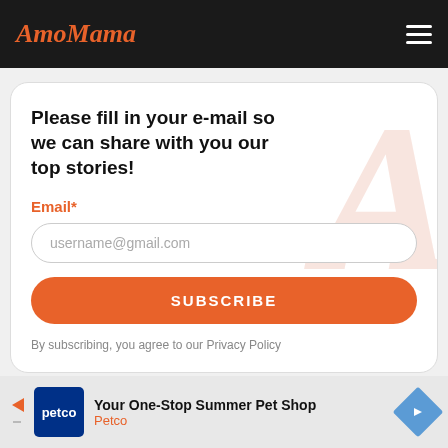AmoMama
Please fill in your e-mail so we can share with you our top stories!
Email*
username@gmail.com
SUBSCRIBE
By subscribing, you agree to our Privacy Policy
[Figure (other): Advertisement banner for Petco: Your One-Stop Summer Pet Shop]